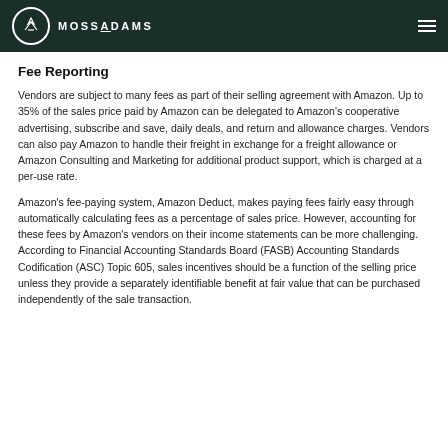MOSSADAMS
Fee Reporting
Vendors are subject to many fees as part of their selling agreement with Amazon. Up to 35% of the sales price paid by Amazon can be delegated to Amazon's cooperative advertising, subscribe and save, daily deals, and return and allowance charges. Vendors can also pay Amazon to handle their freight in exchange for a freight allowance or Amazon Consulting and Marketing for additional product support, which is charged at a per-use rate.
Amazon's fee-paying system, Amazon Deduct, makes paying fees fairly easy through automatically calculating fees as a percentage of sales price. However, accounting for these fees by Amazon's vendors on their income statements can be more challenging. According to Financial Accounting Standards Board (FASB) Accounting Standards Codification (ASC) Topic 605, sales incentives should be a function of the selling price unless they provide a separately identifiable benefit at fair value that can be purchased independently of the sale transaction.